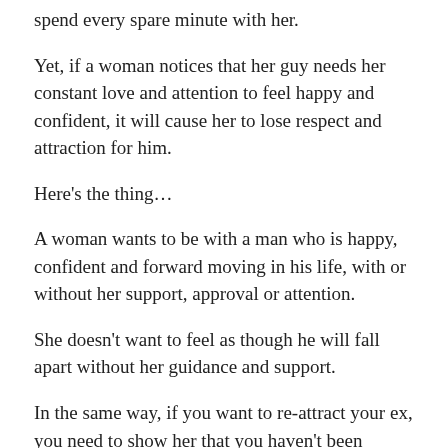spend every spare minute with her.
Yet, if a woman notices that her guy needs her constant love and attention to feel happy and confident, it will cause her to lose respect and attraction for him.
Here's the thing…
A woman wants to be with a man who is happy, confident and forward moving in his life, with or without her support, approval or attention.
She doesn't want to feel as though he will fall apart without her guidance and support.
In the same way, if you want to re-attract your ex, you need to show her that you haven't been sitting around feeling sad, lonely and lost without her.
Instead, you are now emotionally independent and feel…